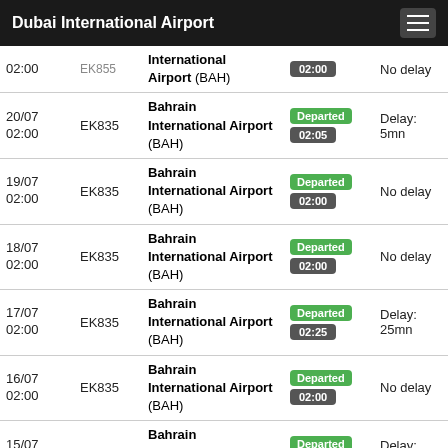Dubai International Airport
| Date/Time | Flight | Destination | Status/Time | Delay |
| --- | --- | --- | --- | --- |
| 02:00 | EK855 | International Airport (BAH) | 02:00 | No delay |
| 20/07 02:00 | EK835 | Bahrain International Airport (BAH) | Departed 02:05 | Delay: 5mn |
| 19/07 02:00 | EK835 | Bahrain International Airport (BAH) | Departed 02:00 | No delay |
| 18/07 02:00 | EK835 | Bahrain International Airport (BAH) | Departed 02:00 | No delay |
| 17/07 02:00 | EK835 | Bahrain International Airport (BAH) | Departed 02:25 | Delay: 25mn |
| 16/07 02:00 | EK835 | Bahrain International Airport (BAH) | Departed 02:00 | No delay |
| 15/07 02:00 | EK835 | Bahrain International Airport (BAH) | Departed 02:10 | Delay: 10mn |